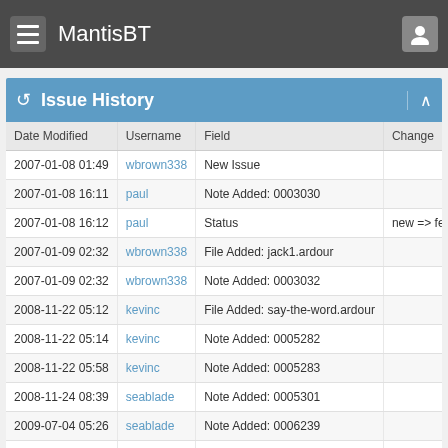MantisBT
Issue History
| Date Modified | Username | Field | Change |
| --- | --- | --- | --- |
| 2007-01-08 01:49 | wbrown338 | New Issue |  |
| 2007-01-08 16:11 | paul | Note Added: 0003030 |  |
| 2007-01-08 16:12 | paul | Status | new => feedba |
| 2007-01-09 02:32 | wbrown338 | File Added: jack1.ardour |  |
| 2007-01-09 02:32 | wbrown338 | Note Added: 0003032 |  |
| 2008-11-22 05:12 | kevinc | File Added: say-the-word.ardour |  |
| 2008-11-22 05:14 | kevinc | Note Added: 0005282 |  |
| 2008-11-22 05:58 | kevinc | Note Added: 0005283 |  |
| 2008-11-24 08:39 | seablade | Note Added: 0005301 |  |
| 2009-07-04 05:26 | seablade | Note Added: 0006239 |  |
| 2009-07-04 05:26 | seablade | Status | feedback => re |
| 2009-07-04 05:26 | seablade | Resolution | open => suspe |